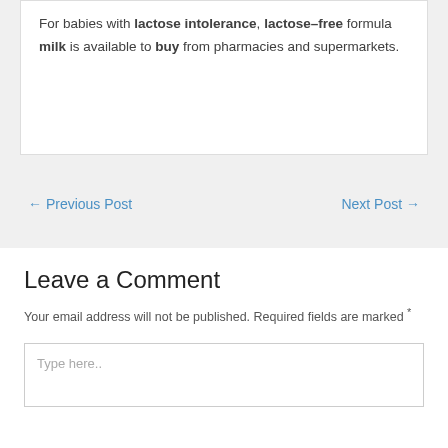For babies with lactose intolerance, lactose–free formula milk is available to buy from pharmacies and supermarkets.
← Previous Post   Next Post →
Leave a Comment
Your email address will not be published. Required fields are marked *
Type here..